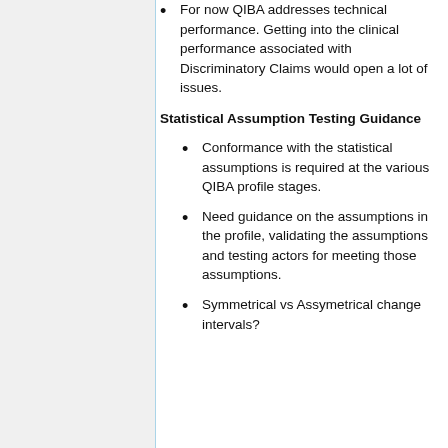For now QIBA addresses technical performance. Getting into the clinical performance associated with Discriminatory Claims would open a lot of issues.
Statistical Assumption Testing Guidance
Conformance with the statistical assumptions is required at the various QIBA profile stages.
Need guidance on the assumptions in the profile, validating the assumptions and testing actors for meeting those assumptions.
Symmetrical vs Assymetrical change intervals?